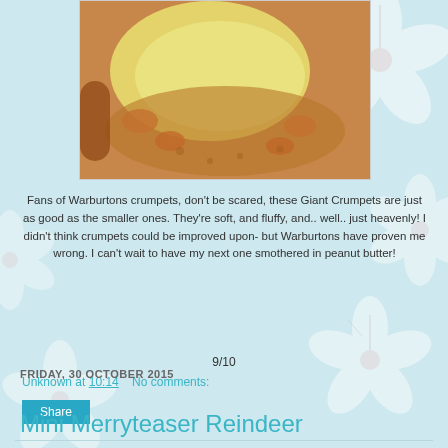[Figure (photo): Close-up photo of a giant crumpet with baked beans and melted cheese on top]
Fans of Warburtons crumpets, don't be scared, these Giant Crumpets are just as good as the smaller ones. They're soft, and fluffy, and.. well.. just heavenly! I didn't think crumpets could be improved upon- but Warburtons have proven me wrong. I can't wait to have my next one smothered in peanut butter!
9/10
Unknown at 10:14    No comments:
Share
FRIDAY, 30 OCTOBER 2015
Mini Merryteaser Reindeer